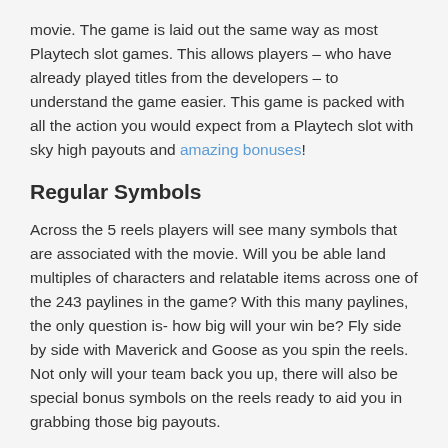movie. The game is laid out the same way as most Playtech slot games. This allows players – who have already played titles from the developers – to understand the game easier. This game is packed with all the action you would expect from a Playtech slot with sky high payouts and amazing bonuses!
Regular Symbols
Across the 5 reels players will see many symbols that are associated with the movie. Will you be able land multiples of characters and relatable items across one of the 243 paylines in the game? With this many paylines, the only question is- how big will your win be? Fly side by side with Maverick and Goose as you spin the reels. Not only will your team back you up, there will also be special bonus symbols on the reels ready to aid you in grabbing those big payouts.